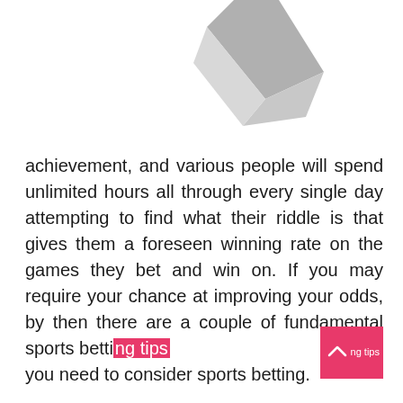[Figure (illustration): Partial view of a decorative or symbolic graphic element (gray/silver angular shape) at the top of the page, mostly cropped out of frame.]
achievement, and various people will spend unlimited hours all through every single day attempting to find what their riddle is that gives them a foreseen winning rate on the games they bet and win on. If you may require your chance at improving your odds, by then there are a couple of fundamental sports betting tips you need to consider sports betting.